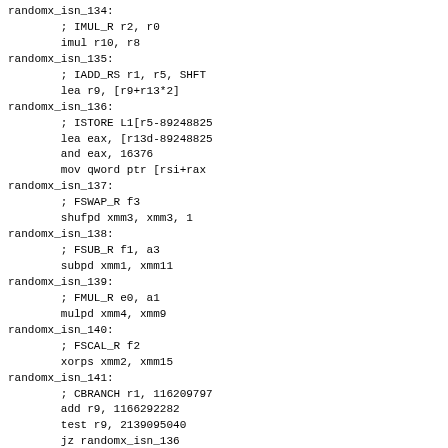randomx_isn_134:
        ; IMUL_R r2, r0
        imul r10, r8
randomx_isn_135:
        ; IADD_RS r1, r5, SHFT
        lea r9, [r9+r13*2]
randomx_isn_136:
        ; ISTORE L1[r5-89248825
        lea eax, [r13d-89248825
        and eax, 16376
        mov qword ptr [rsi+rax
randomx_isn_137:
        ; FSWAP_R f3
        shufpd xmm3, xmm3, 1
randomx_isn_138:
        ; FSUB_R f1, a3
        subpd xmm1, xmm11
randomx_isn_139:
        ; FMUL_R e0, a1
        mulpd xmm4, xmm9
randomx_isn_140:
        ; FSCAL_R f2
        xorps xmm2, xmm15
randomx_isn_141:
        ; CBRANCH r1, 116209797
        add r9, 1166292282
        test r9, 2139095040
        jz randomx_isn_136
randomx_isn_142:
        ; CBRANCH r3, -16546475
        add r11, -1654630867
        test r11, 4177920